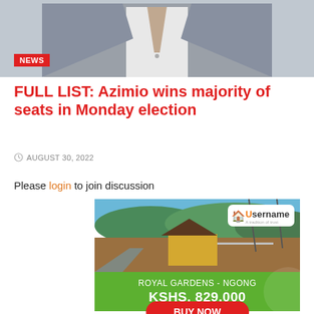[Figure (photo): Man in grey suit and tie, news badge overlay]
FULL LIST: Azimio wins majority of seats in Monday election
AUGUST 30, 2022
Please login to join discussion
[Figure (photo): Real estate advertisement: Royal Gardens - Ngong, KSHS. 829,000, Buy Now button, Username Investments logo]